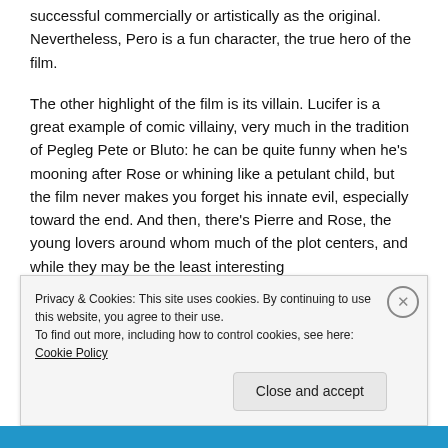successful commercially or artistically as the original. Nevertheless, Pero is a fun character, the true hero of the film.
The other highlight of the film is its villain. Lucifer is a great example of comic villainy, very much in the tradition of Pegleg Pete or Bluto: he can be quite funny when he's mooning after Rose or whining like a petulant child, but the film never makes you forget his innate evil, especially toward the end. And then, there's Pierre and Rose, the young lovers around whom much of the plot centers, and while they may be the least interesting
Privacy & Cookies: This site uses cookies. By continuing to use this website, you agree to their use.
To find out more, including how to control cookies, see here: Cookie Policy